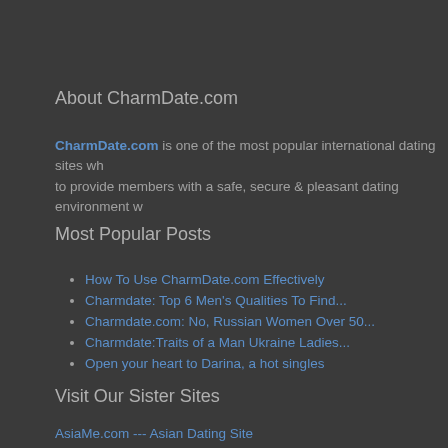About CharmDate.com
CharmDate.com is one of the most popular international dating sites wh... to provide members with a safe, secure & pleasant dating environment w...
Most Popular Posts
How To Use CharmDate.com Effectively
Charmdate: Top 6 Men's Qualities To Find...
Charmdate.com: No, Russian Women Over 50...
Charmdate:Traits of a Man Ukraine Ladies...
Open your heart to Darina, a hot singles
Visit Our Sister Sites
AsiaMe.com --- Asian Dating Site
CharmDate.com --- Russian & Ukrainian Dating Site
LatamDate.com --- Latino Dating Site
CharmDate.com Review